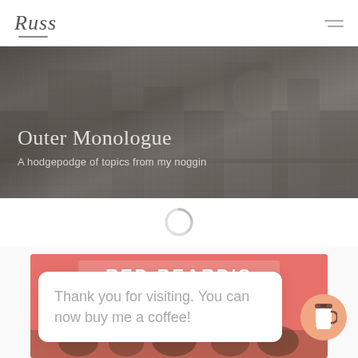Russ
[Figure (photo): Dark grayscale background photo of a bar or cafe with various items on a counter, used as hero banner image]
Outer Monologue
A hodgepodge of topics from my noggin
[Figure (other): Circular loading spinner icon]
[Figure (photo): Red card with bold white text partially visible, appearing to say something like RED BEARS or similar, with a crowd scene at the bottom]
Thank you for visiting. You can now buy me a coffee!
[Figure (illustration): Buy me a coffee button - circular orange button with a coffee cup icon]